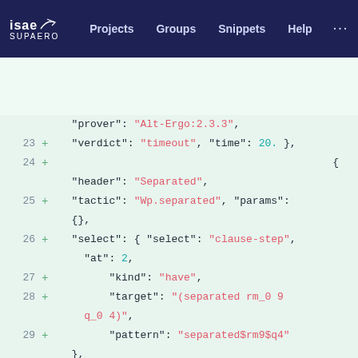ISAE SUPAERO | Projects | Groups | Snippets | Help
[Figure (screenshot): Code diff viewer showing JSON lines 23-30 with additions marked by + signs. Lines show verdict/timeout, header Separated, tactic Wp.separated, select clause-step, kind have, target (separated rm_0 9 q_0 4), pattern separated$rm9$q4, children WrongBase.]